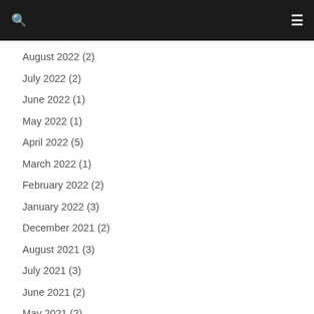August 2022 (2)
July 2022 (2)
June 2022 (1)
May 2022 (1)
April 2022 (5)
March 2022 (1)
February 2022 (2)
January 2022 (3)
December 2021 (2)
August 2021 (3)
July 2021 (3)
June 2021 (2)
May 2021 (2)